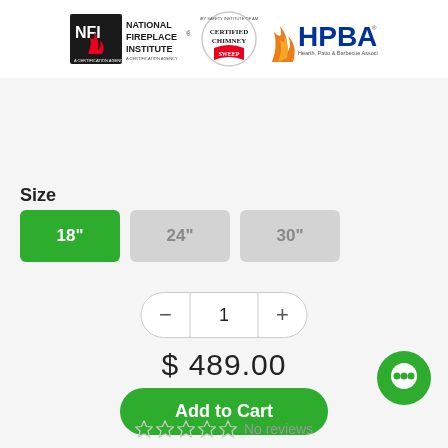[Figure (logo): Three logos: National Fireplace Institute (NFI) certification agency, Certified Chimney Sweep, and HPBA Hearth Patio & Barbecue Association]
Size
18" (selected, green), 24", 30" size selector buttons
Quantity control: minus, 1, plus
$ 489.00
Add to Cart
[Figure (illustration): Green chat bubble icon in bottom right corner]
No reviews (5 star rating shown empty)